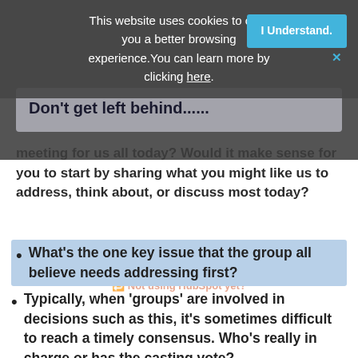This website uses cookies to offer you a better browsing experience. You can learn more by clicking here.
I Understand.
Don't get left behind......
meeting for us all today? Would it make sense for you to start by sharing what you might like us to address, think about, or discuss most today?
What's the one key issue that the group all believe needs addressing first?
Typically, when 'groups' are involved in decisions such as this, it's sometimes difficult to reach a timely consensus. Who's really in charge or has the casting vote?
Is the decision going to be decided by a vote, or, if not, what other method will you use to decide who gets assigned this